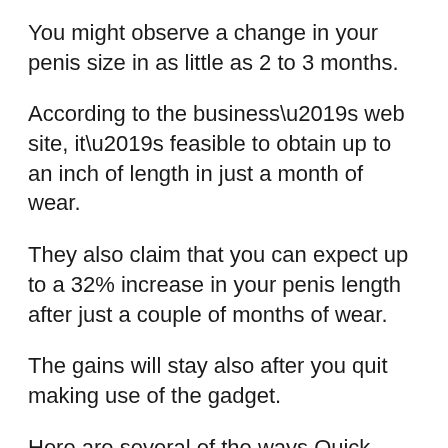You might observe a change in your penis size in as little as 2 to 3 months.
According to the business’s web site, it’s feasible to obtain up to an inch of length in just a month of wear.
They also claim that you can expect up to a 32% increase in your penis length after just a couple of months of wear.
The gains will stay also after you quit making use of the gadget.
Here are several of the ways Quick Extender Pro might benefit your sex-related health and wellness.